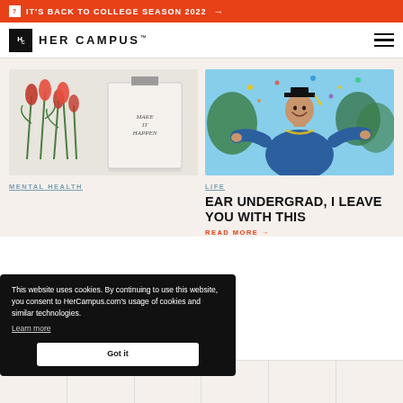IT'S BACK TO COLLEGE SEASON 2022 →
HER CAMPUS™
[Figure (photo): Tulips and a journal that reads MAKE IT HAPPEN on a white marble surface]
[Figure (photo): A woman in graduation cap and gown smiling with arms outstretched, confetti falling]
MENTAL HEALTH
LIFE
EAR UNDERGRAD, I LEAVE YOU WITH THIS
READ MORE →
This website uses cookies. By continuing to use this website, you consent to HerCampus.com's usage of cookies and similar technologies. Learn more
Got it